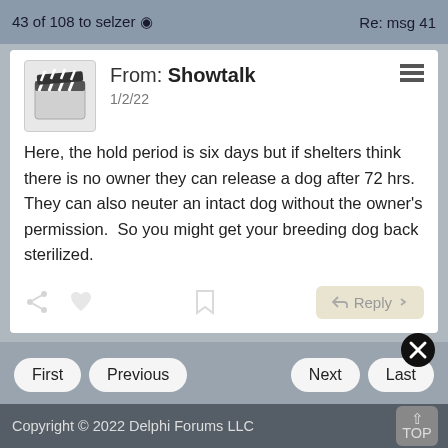43 of 108 to selzer ⊙   Re: msg 41
From: Showtalk
1/2/22
Here, the hold period is six days but if shelters think there is no owner they can release a dog after 72 hrs. They can also neuter an intact dog without the owner's permission.  So you might get your breeding dog back sterilized.
Copyright © 2022 Delphi Forums LLC